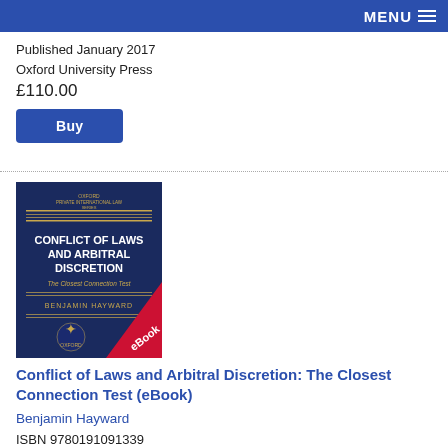MENU
Published January 2017
Oxford University Press
£110.00
Buy
[Figure (photo): Book cover of 'Conflict of Laws and Arbitral Discretion: The Closest Connection Test' by Benjamin Hayward, published by Oxford University Press. Dark blue cover with gold lines and white text. A red diagonal banner at the bottom right reads 'eBook'.]
Conflict of Laws and Arbitral Discretion: The Closest Connection Test (eBook)
Benjamin Hayward
ISBN 9780191091339
Published January 2017
Oxford University Press
£01.67